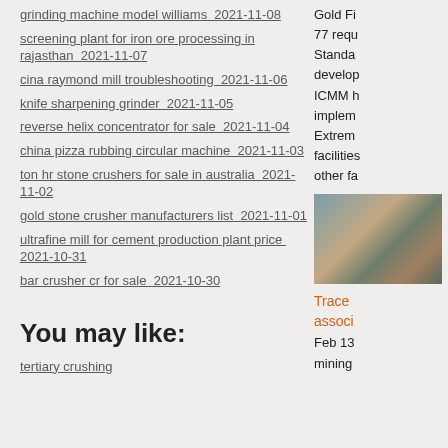grinding machine model williams  2021-11-08
screening plant for iron ore processing in rajasthan  2021-11-07
cina raymond mill troubleshooting  2021-11-06
knife sharpening grinder  2021-11-05
reverse helix concentrator for sale  2021-11-04
china pizza rubbing circular machine  2021-11-03
ton hr stone crushers for sale in australia  2021-11-02
gold stone crusher manufacturers list  2021-11-01
ultrafine mill for cement production plant price  2021-10-31
bar crusher cr for sale  2021-10-30
Gold Fi... 77 requ... Standa... develop... ICMM h... implem... Extrem... facilities... other fa...
[Figure (photo): Photo of industrial/mining equipment or facility]
You may like:
tertiary crushing
Trace... associ...
Feb 13... mining...